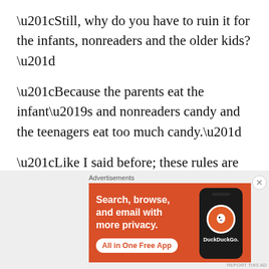“Still, why do you have to ruin it for the infants, nonreaders and the older kids?”
“Because the parents eat the infant’s and nonreaders candy and the teenagers eat too much candy.”
“Like I said before; these rules are bad and you’re being heartless…  With all these rules no
[Figure (screenshot): DuckDuckGo advertisement banner: orange background with text 'Search, browse, and email with more privacy. All in One Free App' and a phone graphic with DuckDuckGo logo.]